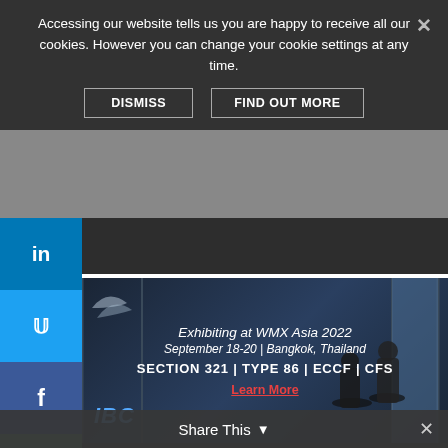Accessing our website tells us you are happy to receive all our cookies. However you can change your cookie settings at any time.
DISMISS   FIND OUT MORE
[Figure (infographic): IBC advertisement banner: Exhibiting at WMX Asia 2022, September 18-20 | Bangkok, Thailand. SECTION 321 | TYPE 86 | ECCF | CFS. Learn More link in red. IBC logo in blue italic on left. Dark background with silhouettes of people.]
Menu
customers must continue to work together, and with Congress, to help the Postal Service maintain competitiveness in the marketplace.
“DMA will work closely with Congress to correct the over-funding of postal pensions so that companies are not taxed to subsidise other government programs,” concluded Kimmel. “We